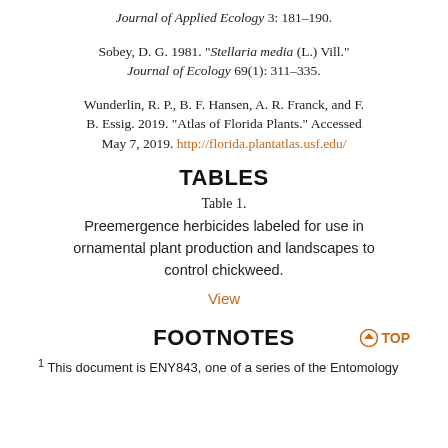Journal of Applied Ecology 3: 181–190.
Sobey, D. G. 1981. "Stellaria media (L.) Vill." Journal of Ecology 69(1): 311–335.
Wunderlin, R. P., B. F. Hansen, A. R. Franck, and F. B. Essig. 2019. "Atlas of Florida Plants." Accessed May 7, 2019. http://florida.plantatlas.usf.edu/
TABLES
Table 1.
Preemergence herbicides labeled for use in ornamental plant production and landscapes to control chickweed.
View
FOOTNOTES
⬆ TOP